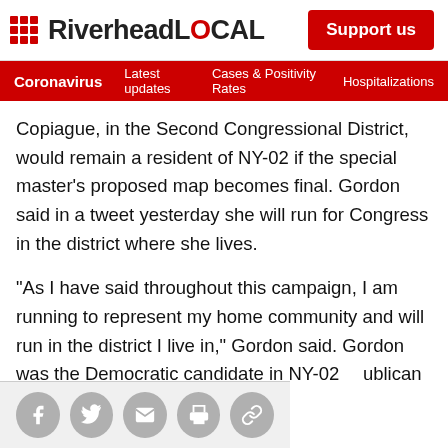RiverheadLOCAL — Support us
Coronavirus  Latest updates  Cases & Positivity Rates  Hospitalizations
Copiague, in the Second Congressional District, would remain a resident of NY-02 if the special master’s proposed map becomes final. Gordon said in a tweet yesterday she will run for Congress in the district where she lives.
“As I have said throughout this campaign, I am running to represent my home community and will run in the district I live in,” Gordon said. Gordon was the Democratic candidate in NY-02 … ublican Andrew
[Figure (other): Row of social sharing icons: Facebook, Twitter, Email, Print, Link]